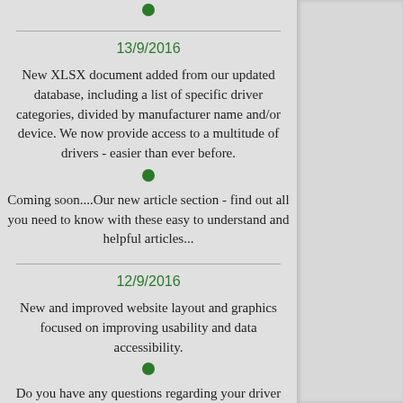•
13/9/2016
New XLSX document added from our updated database, including a list of specific driver categories, divided by manufacturer name and/or device. We now provide access to a multitude of drivers - easier than ever before.
•
Coming soon....Our new article section - find out all you need to know with these easy to understand and helpful articles...
12/9/2016
New and improved website layout and graphics focused on improving usability and data accessibility.
•
Do you have any questions regarding your driver installation?
Coming soon – or new driver information